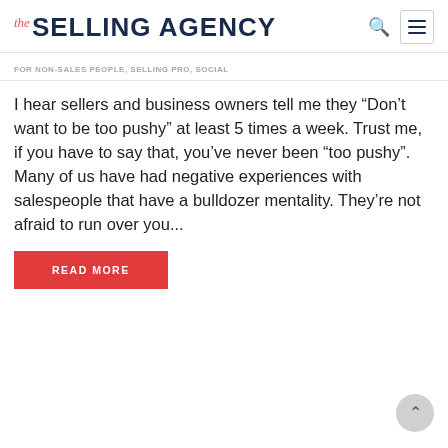the SELLING AGENCY
FOR NON-SALES PEOPLE, SELLING PRO, SOCIAL
I hear sellers and business owners tell me they “Don’t want to be too pushy” at least 5 times a week. Trust me, if you have to say that, you’ve never been “too pushy”. Many of us have had negative experiences with salespeople that have a bulldozer mentality. They’re not afraid to run over you...
READ MORE